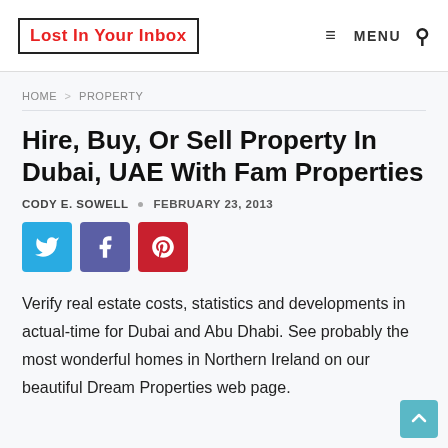Lost In Your Inbox — MENU [search]
HOME > PROPERTY
Hire, Buy, Or Sell Property In Dubai, UAE With Fam Properties
CODY E. SOWELL · FEBRUARY 23, 2013
[Figure (infographic): Three social sharing buttons: Twitter (blue), Facebook (purple), Pinterest (red)]
Verify real estate costs, statistics and developments in actual-time for Dubai and Abu Dhabi. See probably the most wonderful homes in Northern Ireland on our beautiful Dream Properties web page.